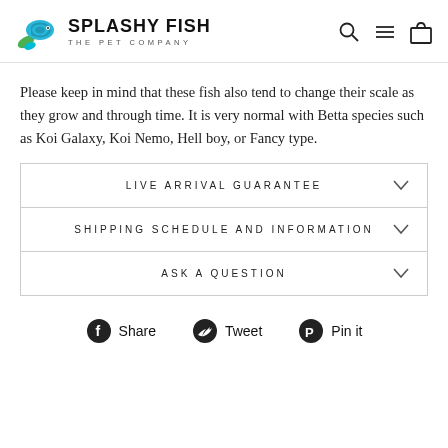SPLASHY FISH THE PET COMPANY
Please keep in mind that these fish also tend to change their scale as they grow and through time. It is very normal with Betta species such as Koi Galaxy, Koi Nemo, Hell boy, or Fancy type.
LIVE ARRIVAL GUARANTEE
SHIPPING SCHEDULE AND INFORMATION
ASK A QUESTION
Share  Tweet  Pin it